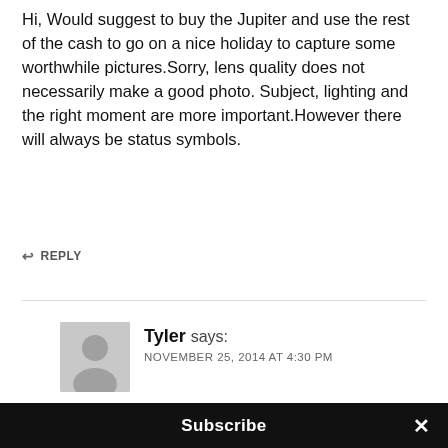Hi, Would suggest to buy the Jupiter and use the rest of the cash to go on a nice holiday to capture some worthwhile pictures.Sorry, lens quality does not necessarily make a good photo. Subject, lighting and the right moment are more important.However there will always be status symbols.
↩ REPLY
Tyler says: NOVEMBER 25, 2014 AT 4:30 PM
What an odd comment. What you say is true, but is not really connected to the post at all. It makes me
Subscribe